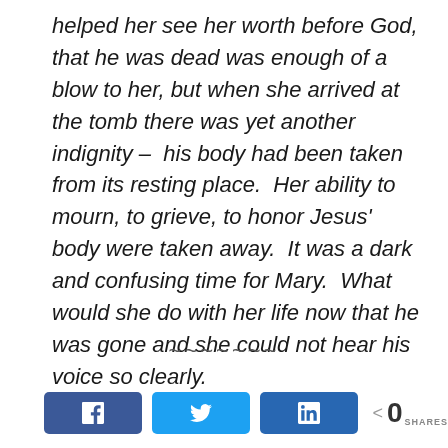helped her see her worth before God, that he was dead was enough of a blow to her, but when she arrived at the tomb there was yet another indignity –  his body had been taken from its resting place.  Her ability to mourn, to grieve, to honor Jesus' body were taken away.  It was a dark and confusing time for Mary.  What would she do with her life now that he was gone and she could not hear his voice so clearly.
~~~~~~~